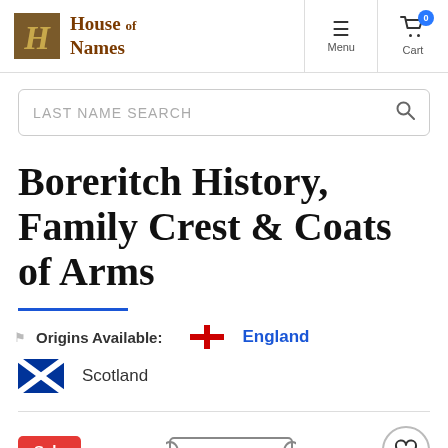House of Names — Menu | Cart (0)
LAST NAME SEARCH
Boreritch History, Family Crest & Coats of Arms
Origins Available: England Scotland